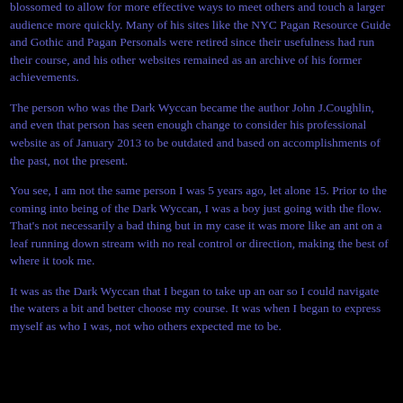blossomed to allow for more effective ways to meet others and touch a larger audience more quickly. Many of his sites like the NYC Pagan Resource Guide and Gothic and Pagan Personals were retired since their usefulness had run their course, and his other websites remained as an archive of his former achievements.
The person who was the Dark Wyccan became the author John J.Coughlin, and even that person has seen enough change to consider his professional website as of January 2013 to be outdated and based on accomplishments of the past, not the present.
You see, I am not the same person I was 5 years ago, let alone 15. Prior to the coming into being of the Dark Wyccan, I was a boy just going with the flow. That's not necessarily a bad thing but in my case it was more like an ant on a leaf running down stream with no real control or direction, making the best of where it took me.
It was as the Dark Wyccan that I began to take up an oar so I could navigate the waters a bit and better choose my course. It was when I began to express myself as who I was, not who others expected me to be.